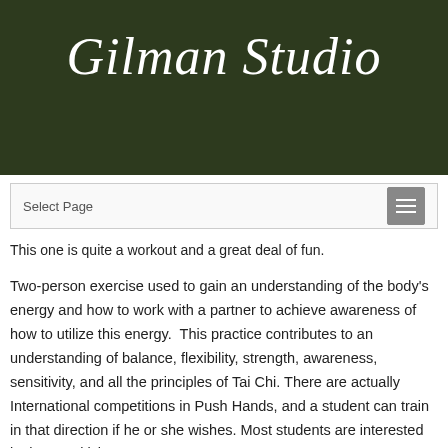Gilman Studio
Select Page
This one is quite a workout and a great deal of fun.
Two-person exercise used to gain an understanding of the body's energy and how to work with a partner to achieve awareness of how to utilize this energy.  This practice contributes to an understanding of balance, flexibility, strength, awareness, sensitivity, and all the principles of Tai Chi. There are actually International competitions in Push Hands, and a student can train in that direction if he or she wishes. Most students are interested in the sensitivity